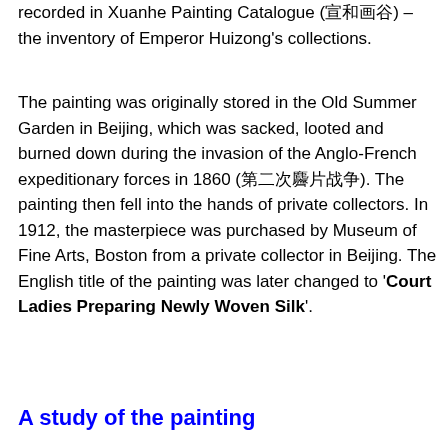recorded in Xuanhe Painting Catalogue (宣和画谱) – the inventory of Emperor Huizong's collections.
The painting was originally stored in the Old Summer Garden in Beijing, which was sacked, looted and burned down during the invasion of the Anglo-French expeditionary forces in 1860 (第二次鸦片战争). The painting then fell into the hands of private collectors. In 1912, the masterpiece was purchased by Museum of Fine Arts, Boston from a private collector in Beijing. The English title of the painting was later changed to 'Court Ladies Preparing Newly Woven Silk'.
A study of the painting